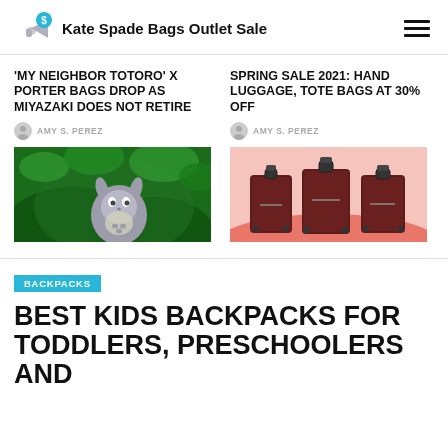Kate Spade Bags Outlet Sale
'MY NEIGHBOR TOTORO' X PORTER BAGS DROP AS MIYAZAKI DOES NOT RETIRE
AMY S. PEREZ
[Figure (photo): Totoro character from My Neighbor Totoro in a green forest scene]
SPRING SALE 2021: HAND LUGGAGE, TOTE BAGS AT 30% OFF
AMY S. PEREZ
[Figure (photo): Three dark brown rolling suitcases on a pink/salmon background]
BACKPACKS
BEST KIDS BACKPACKS FOR TODDLERS, PRESCHOOLERS AND